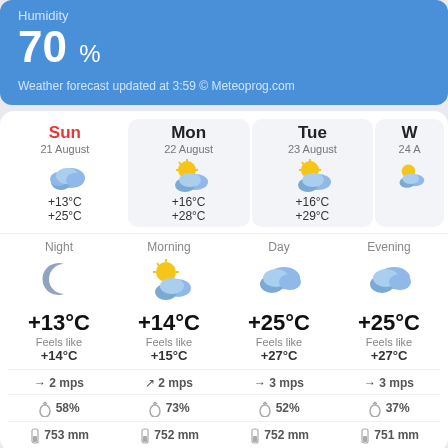Humidity
70 %
Weather forecast updated at 3:59 © Meteoprog.com
| Sun 21 August | Mon 22 August | Tue 23 August | W 24 A |
| --- | --- | --- | --- |
| +13°C / +25°C | +16°C / +28°C | +16°C / +29°C |  |
| Night | Morning | Day | Evening |
| --- | --- | --- | --- |
| +13°C | +14°C | +25°C | +25°C |
| Feels like +14°C | Feels like +15°C | Feels like +27°C | Feels like +27°C |
| → 2 mps | ↗ 2 mps | → 3 mps | → 3 mps |
| 58% | 73% | 52% | 37% |
| 753 mm | 752 mm | 752 mm | 751 mm |